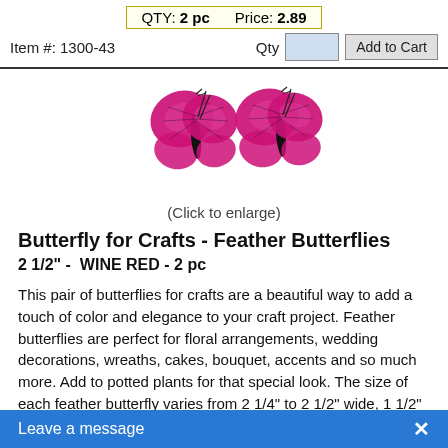QTY: 2 pc   Price: 2.89
Item #: 1300-43   Qty [input] Add to Cart
[Figure (photo): Two pink/wine-red feather butterflies on white background]
(Click to enlarge)
Butterfly for Crafts - Feather Butterflies
2 1/2" -  WINE RED - 2 pc
This pair of butterflies for crafts are a beautiful way to add a touch of color and elegance to your craft project. Feather butterflies are perfect for floral arrangements, wedding decorations, wreaths, cakes, bouquet, accents and so much more. Add to potted plants for that special look. The size of each feather butterfly varies from 2 1/4" to 2 1/2" wide, 1 1/2" to 1 3/4" tall. 2 butterflies per package. Craft butterfly on wire to attach to your project. Painted Butterfly with W
Leave a message  ✕